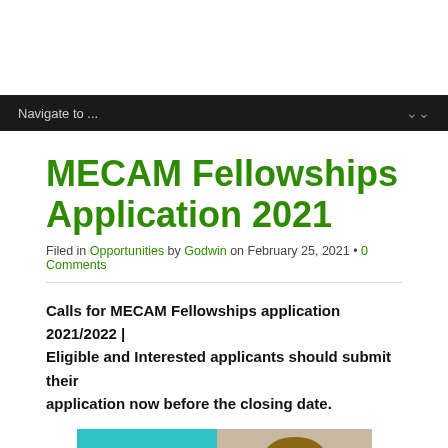Navigate to ...
MECAM Fellowships Application 2021
Filed in Opportunities by Godwin on February 25, 2021 • 0 Comments
Calls for MECAM Fellowships application 2021/2022 | Eligible and Interested applicants should submit their application now before the closing date.
[Figure (illustration): Promotional image with teal background showing 'Apply Now!!' text and a person studying]